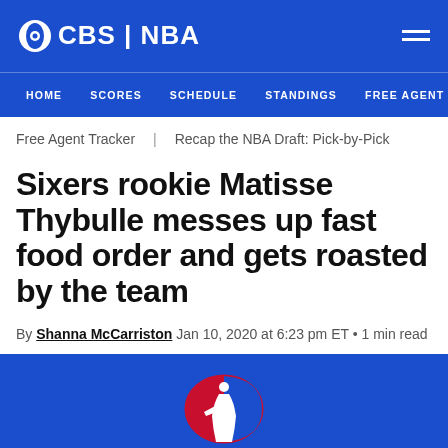CBS | NBA
HOME  SCORES  SCHEDULE  STANDINGS  FREE AGENT TRA
Free Agent Tracker   Recap the NBA Draft: Pick-by-Pick
Sixers rookie Matisse Thybulle messes up fast food order and gets roasted by the team
By Shanna McCarriston Jan 10, 2020 at 6:23 pm ET • 1 min read
[Figure (logo): NBA logo at bottom of page on blue background]